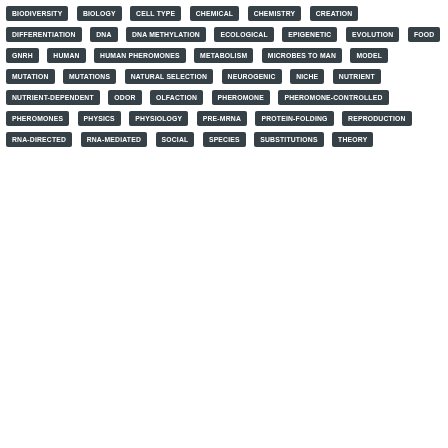BIODIVERSITY
BIOLOGY
CELL TYPE
CHEMICAL
CHEMISTRY
CREATION
DIFFERENTIATION
DNA
DNA METHYLATION
ECOLOGICAL
EPIGENETIC
EVOLUTION
FOOD
GNRH
HUMAN
HUMAN PHEROMONES
METABOLISM
MICROBES TO MAN
MODEL
MUTATION
MUTATIONS
NATURAL SELECTION
NEUROGENIC
NICHE
NUTRIENT
NUTRIENT-DEPENDENT
ODOR
OLFACTION
PHEROMONE
PHEROMONE-CONTROLLED
PHEROMONES
PHYSICS
PHYSIOLOGY
PRE-MRNA
PROTEIN-FOLDING
REPRODUCTION
RNA-DIRECTED
RNA-MEDIATED
SOCIAL
SPECIES
SUBSTITUTIONS
THEORY